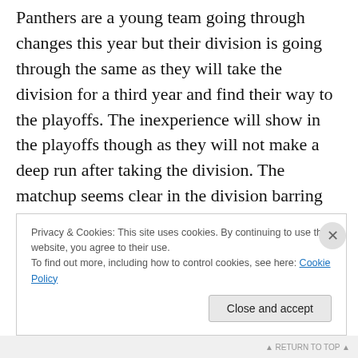Panthers are a young team going through changes this year but their division is going through the same as they will take the division for a third year and find their way to the playoffs. The inexperience will show in the playoffs though as they will not make a deep run after taking the division. The matchup seems clear in the division barring one team have a great end to their year heading into the playoffs, the Packers and Seahawks will be headed for another conference face-off. Last year it seemed like the Packers were going to take an easy win before a late rally brought the Seahawks to another title. The Packers won't
Privacy & Cookies: This site uses cookies. By continuing to use this website, you agree to their use.
To find out more, including how to control cookies, see here: Cookie Policy
Close and accept